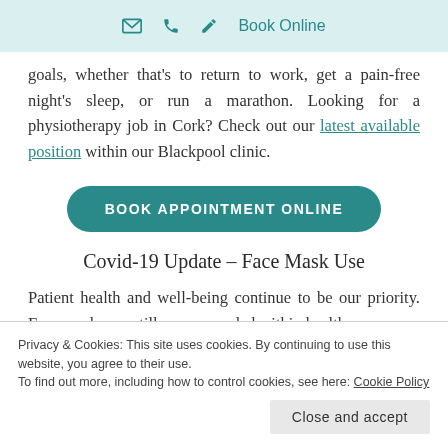✉ 📞 ✏ Book Online
goals, whether that's to return to work, get a pain-free night's sleep, or run a marathon. Looking for a physiotherapy job in Cork? Check out our latest available position within our Blackpool clinic.
BOOK APPOINTMENT ONLINE
Covid-19 Update – Face Mask Use
Patient health and well-being continue to be our priority. Face masks are still recommended within healthcare
Privacy & Cookies: This site uses cookies. By continuing to use this website, you agree to their use.
To find out more, including how to control cookies, see here: Cookie Policy
Close and accept